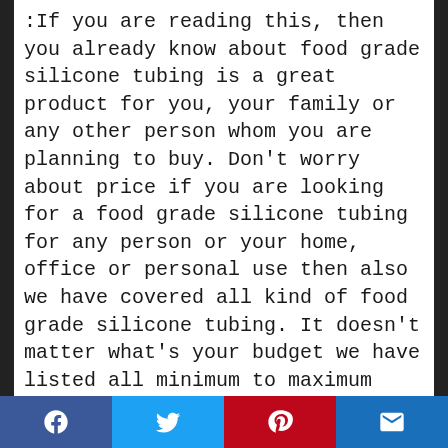:If you are reading this, then you already know about food grade silicone tubing is a great product for you, your family or any other person whom you are planning to buy. Don't worry about price if you are looking for a food grade silicone tubing for any person or your home, office or personal use then also we have covered all kind of food grade silicone tubing. It doesn't matter what's your budget we have listed all minimum to maximum price budget details.
Thanks to e-commerce explosion, we now have a Sale more often and predictable than the monsoon. If food grade silicone tubing is
Facebook | Twitter | Pinterest | Email